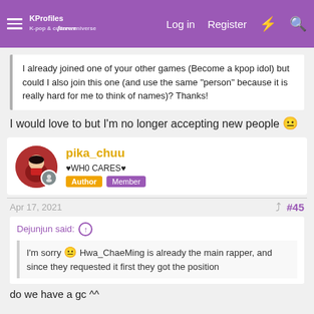KProfiles - Log in - Register
I already joined one of your other games (Become a kpop idol) but could I also join this one (and use the same "person" because it is really hard for me to think of names)? Thanks!
I would love to but I'm no longer accepting new people 😐
pika_chuu ♥WH0 CARES♥ Author Member
Apr 17, 2021 #45
Dejunjun said: ⬆
I'm sorry 😐 Hwa_ChaeMing is already the main rapper, and since they requested it first they got the position
do we have a gc ^^